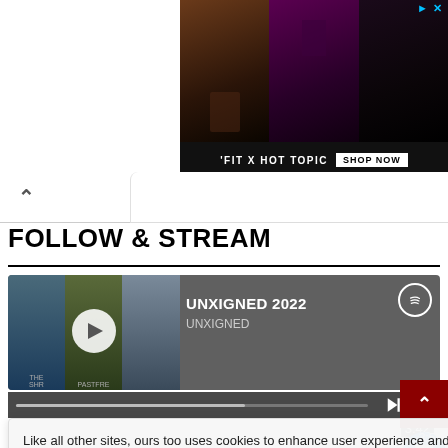[Figure (photo): Advertisement banner for 'FIT X HOT TOPIC' with photos of three young women in dark fashion clothing, with a 'SHOP NOW' button]
FOLLOW & STREAM
[Figure (screenshot): Spotify embedded player showing 'UNXIGNED 2022' playlist by UNXIGNED with album art thumbnails and play controls]
Like all other sites, ours too uses cookies to enhance user experience and to analyze relevant data. By continuing to browse the blog, you agree to their use.
Cookie Settings
Accept All